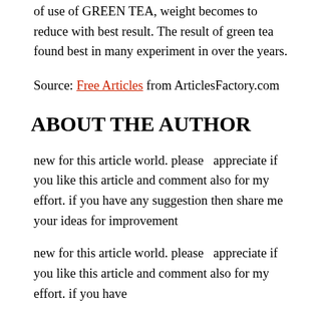of use of GREEN TEA, weight becomes to reduce with best result. The result of green tea found best in many experiment in over the years.
Source: Free Articles from ArticlesFactory.com
ABOUT THE AUTHOR
new for this article world. please  appreciate if you like this article and comment also for my effort. if you have any suggestion then share me your ideas for improvement
new for this article world. please  appreciate if you like this article and comment also for my effort. if you have any suggestion then share me your ideas for improvement